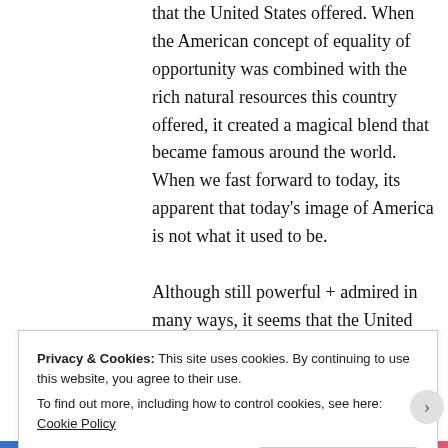that the United States offered. When the American concept of equality of opportunity was combined with the rich natural resources this country offered, it created a magical blend that became famous around the world. When we fast forward to today, its apparent that today's image of America is not what it used to be.

Although still powerful + admired in many ways, it seems that the United States has become a victim of its own
Privacy & Cookies: This site uses cookies. By continuing to use this website, you agree to their use.
To find out more, including how to control cookies, see here: Cookie Policy

Close and accept